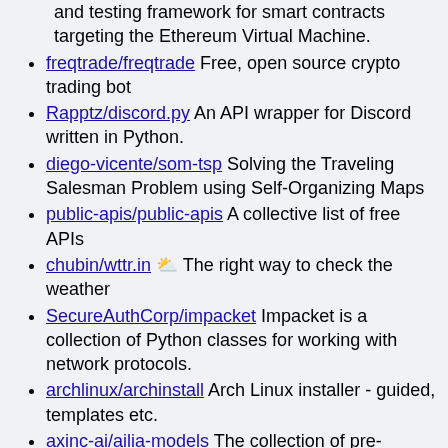and testing framework for smart contracts targeting the Ethereum Virtual Machine.
freqtrade/freqtrade Free, open source crypto trading bot
Rapptz/discord.py An API wrapper for Discord written in Python.
diego-vicente/som-tsp Solving the Traveling Salesman Problem using Self-Organizing Maps
public-apis/public-apis A collective list of free APIs
chubin/wttr.in ⛅ The right way to check the weather
SecureAuthCorp/impacket Impacket is a collection of Python classes for working with network protocols.
archlinux/archinstall Arch Linux installer - guided, templates etc.
axinc-ai/ailia-models The collection of pre-trained, state-of-the-art AI models for ailia SDK
reloadware/reloadium Advanced hot reloading & profiling for Python
eternnoir/pyTelegramBotAPI Python Telegram bot api.
kovidgoyal/calibre The official source code repository for the calibre ebook manager
d2l-ai/d2l-zh 《动手学深度学习》：面向中文读者、能运行、可讨论。中英文版被55个国家300所大学用于教学。